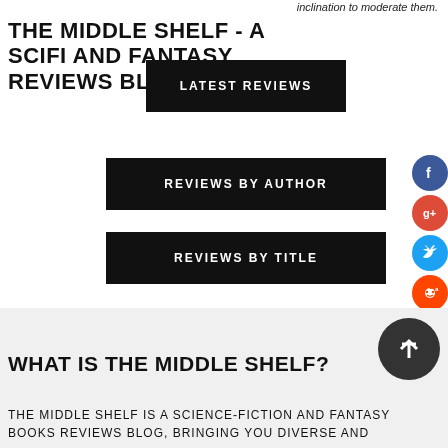inclination to moderate them.
THE MIDDLE SHELF - A SCIFI AND FANTASY REVIEWS BLOG
LATEST REVIEWS
REVIEWS BY AUTHOR
REVIEWS BY TITLE
RSS Feed
WHAT IS THE MIDDLE SHELF?
THE MIDDLE SHELF IS A SCIENCE-FICTION AND FANTASY BOOKS REVIEWS BLOG, BRINGING YOU DIVERSE AND